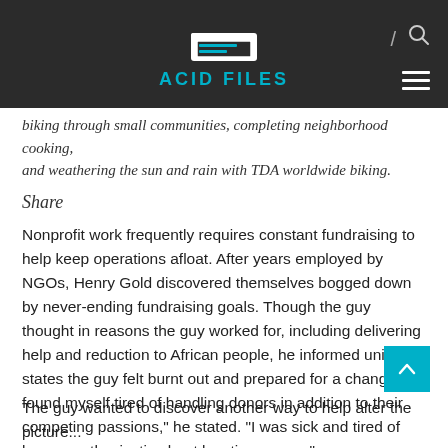ACID FILES
biking through small communities, completing neighborhood cooking, and weathering the sun and rain with TDA worldwide biking.
Share
Nonprofit work frequently requires constant fundraising to help keep operations afloat. After years employed by NGOs, Henry Gold discovered themselves bogged down by never-ending fundraising goals. Though the guy thought in reasons the guy worked for, including delivering help and reduction to African people, he informed united states the guy felt burnt out and prepared for a change. "I found myself tired of handling donors in addition to their competing passions," he stated. "I was sick and tired of being enthusiastic about locating money."
The guy wanted to discover another way to help alter the picture...